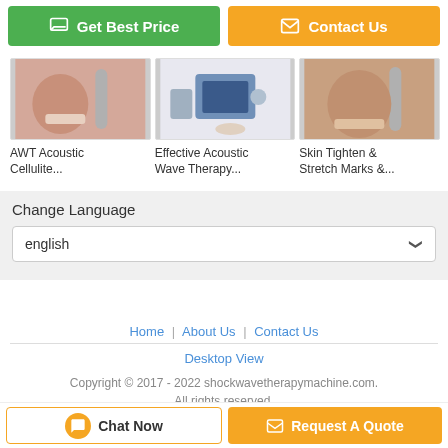[Figure (other): Green 'Get Best Price' button with chat icon]
[Figure (other): Orange 'Contact Us' button with envelope icon]
[Figure (photo): AWT Acoustic Cellulite treatment product thumbnail]
AWT Acoustic Cellulite...
[Figure (photo): Effective Acoustic Wave Therapy product thumbnail]
Effective Acoustic Wave Therapy...
[Figure (photo): Skin Tighten & Stretch Marks product thumbnail]
Skin Tighten & Stretch Marks &...
Change Language
english
Home | About Us | Contact Us
Desktop View
Copyright © 2017 - 2022 shockwavetherapymachine.com. All rights reserved.
[Figure (other): Chat Now button]
[Figure (other): Request A Quote button]